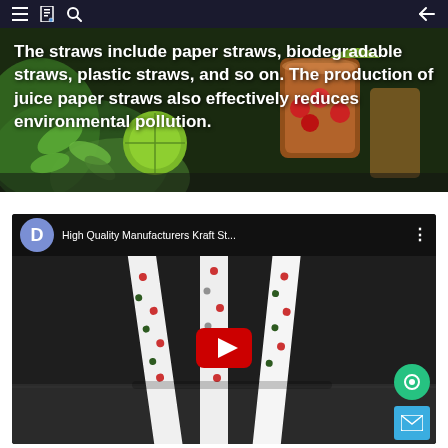[Figure (photo): Navigation bar with hamburger menu, bookmark/document icon, search icon on the left and back arrow on the right, dark navy background]
The straws include paper straws, biodegradable straws, plastic straws, and so on. The production of juice paper straws also effectively reduces environmental pollution.
[Figure (photo): Background photo of drinks with mint garnish, limes, cherry tomatoes, and cocktail glasses on a dark surface]
[Figure (screenshot): YouTube video embed titled 'High Quality Manufacturers Kraft St...' with channel avatar showing letter D, showing polka dot paper straws with YouTube play button overlay, chat bubble icon and email icon in bottom right corner]